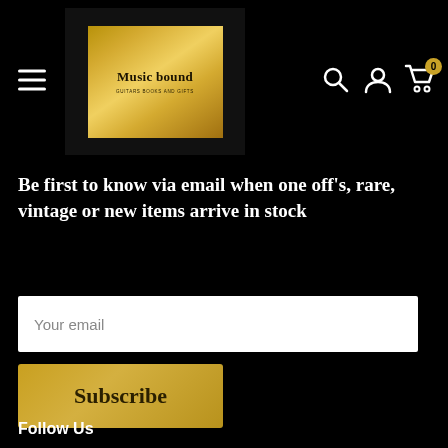[Figure (logo): Music bound logo — gold metallic square with bold text 'Music bound' and small subtitle text, set on a dark background with hamburger menu, search icon, user icon, and cart icon with badge '0']
Be first to know via email when one off's, rare, vintage or new items arrive in stock
Your email
Subscribe
Follow Us